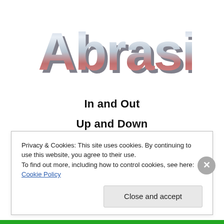Abrasion
In and Out
Up and Down
High and Low
Above and Below
Privacy & Cookies: This site uses cookies. By continuing to use this website, you agree to their use.
To find out more, including how to control cookies, see here: Cookie Policy
Close and accept